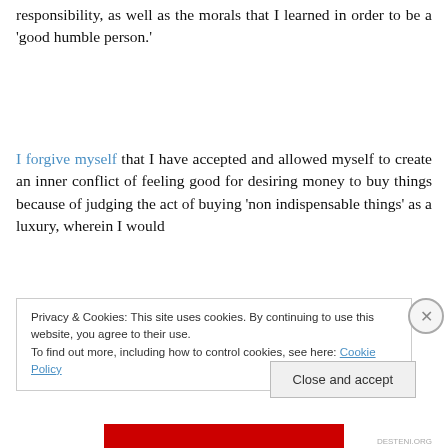responsibility, as well as the morals that I learned in order to be a 'good humble person.'
I forgive myself that I have accepted and allowed myself to create an inner conflict of feeling good for desiring money to buy things because of judging the act of buying 'non indispensable things' as a luxury, wherein I would
Privacy & Cookies: This site uses cookies. By continuing to use this website, you agree to their use.
To find out more, including how to control cookies, see here: Cookie Policy
Close and accept